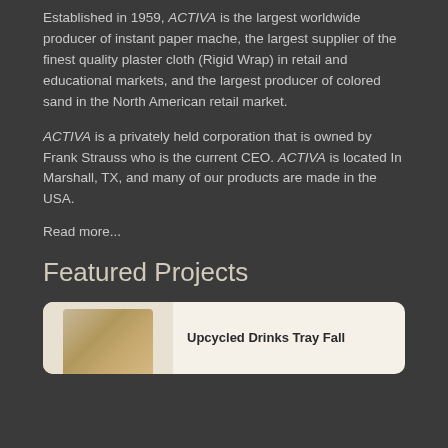Established in 1959, ACTIVA is the largest worldwide producer of instant paper mache, the largest supplier of the finest quality plaster cloth (Rigid Wrap) in retail and educational markets, and the largest producer of colored sand in the North American retail market.
ACTIVA is a privately held corporation that is owned by Frank Strauss who is the current CEO. ACTIVA is located In Marshall, TX, and many of our products are made in the USA.
Read more...
Featured Projects
[Figure (photo): Decorative image and card for 'Upcycled Drinks Tray Fall' featured project]
Upcycled Drinks Tray Fall